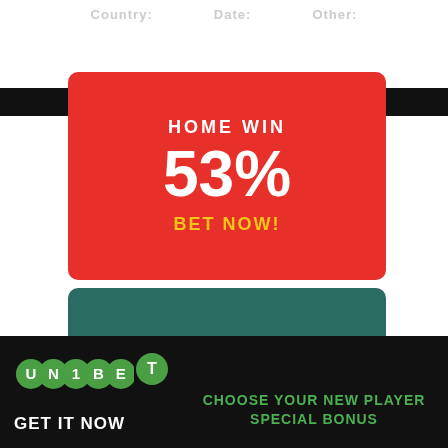Country: Date: Other:
[Figure (infographic): Red card with HOME WIN 53% BET NOW!]
[Figure (infographic): Teal card with DRAW 33% BET NOW!]
[Figure (logo): Unibet logo with circular letter icons]
GET IT NOW
CHOOSE YOUR NEW PLAYER SPECIAL BONUS